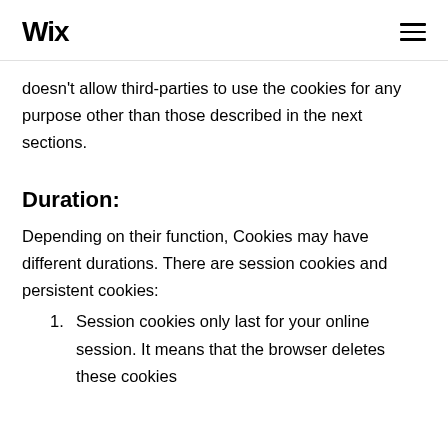Wix
doesn't allow third-parties to use the cookies for any purpose other than those described in the next sections.
Duration:
Depending on their function, Cookies may have different durations. There are session cookies and persistent cookies:
Session cookies only last for your online session. It means that the browser deletes these cookies